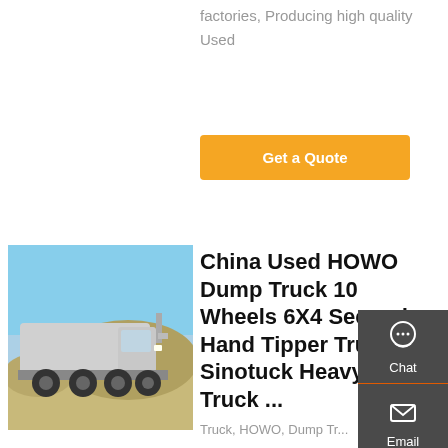factories, Producing high quality Used
Get a Quote
[Figure (photo): Silver HOWO dump truck / heavy duty tractor unit parked outdoors with rocky terrain in background]
China Used HOWO Dump Truck 10 Wheels 6X4 Second Hand Tipper Truck Sinotuck Heavy Duty Truck ...
Truck, HOWO, Dump Truck manufacturer / supplier in China, offering Used HOWO Dump Truck 10 Wheels 6X4 Second Hand Tipper Truck Sinotuck
[Figure (infographic): Right-side floating panel with Chat, Email, Contact, and Top navigation icons on dark grey background]